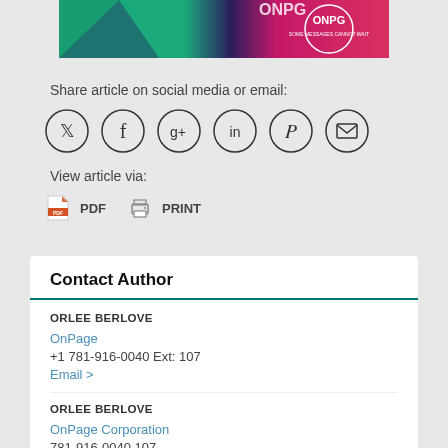[Figure (illustration): OnPage banner with teal, dark purple, and pink/red gradient colors, circular logo with ONPG text]
Share article on social media or email:
[Figure (infographic): Six circular social media icons: Twitter, Facebook, Google+, LinkedIn, Pinterest, Email]
View article via:
PDF   PRINT
Contact Author
ORLEE BERLOVE
OnPage
+1 781-916-0040 Ext: 107
Email >
ORLEE BERLOVE
OnPage Corporation
781-916-0040 107